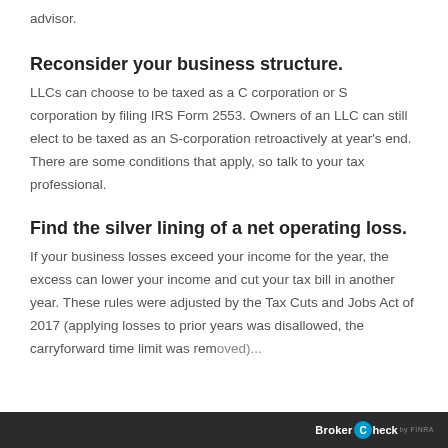advisor.
Reconsider your business structure.
LLCs can choose to be taxed as a C corporation or S corporation by filing IRS Form 2553. Owners of an LLC can still elect to be taxed as an S-corporation retroactively at year's end. There are some conditions that apply, so talk to your tax professional.
Find the silver lining of a net operating loss.
If your business losses exceed your income for the year, the excess can lower your income and cut your tax bill in another year. These rules were adjusted by the Tax Cuts and Jobs Act of 2017 (applying losses to prior years was disallowed, the carryforward time limit was removed)...
BrokerCheck by FINRA